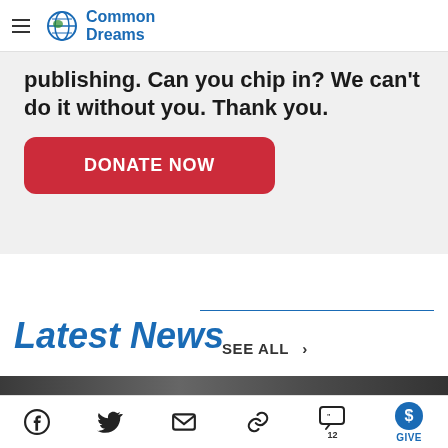Common Dreams
publishing. Can you chip in? We can't do it without you. Thank you.
DONATE NOW
Latest News
SEE ALL >
[Figure (photo): Dark outdoor scene image strip at the bottom of the Latest News section]
Facebook, Twitter, Email, Link, 12 comments, GIVE